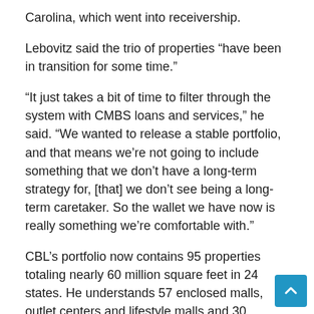Carolina, which went into receivership.
Lebovitz said the trio of properties “have been in transition for some time.”
“It just takes a bit of time to filter through the system with CMBS loans and services,” he said. “We wanted to release a stable portfolio, and that means we’re not going to include something that we don’t have a long-term strategy for, [that] we don’t see being a long-term caretaker. So the wallet we have now is really something we’re comfortable with.”
CBL’s portfolio now contains 95 properties totaling nearly 60 million square feet in 24 states. He understands 57 enclosed malls, outlet centers and lifestyle malls and 30 outdoor centres.
Lebovitz said CBL plans to continue with its plan to redevelop several of its malls by adding different uses, typically to their surface parking lots. The REIT expects to still see “more diverse types of uses” in its commercial properties, he said.